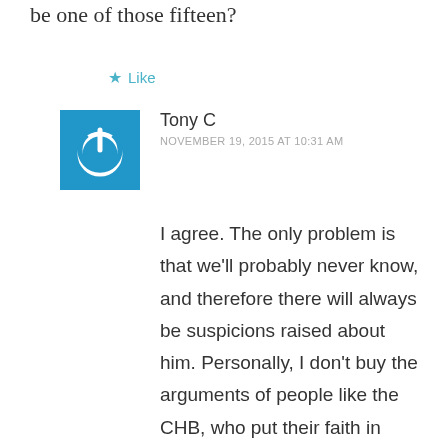be one of those fifteen?
★ Like
Tony C
NOVEMBER 19, 2015 AT 10:31 AM
I agree. The only problem is that we'll probably never know, and therefore there will always be suspicions raised about him. Personally, I don't buy the arguments of people like the CHB, who put their faith in Terry Ryan's talent-evaluation skills being pretty much